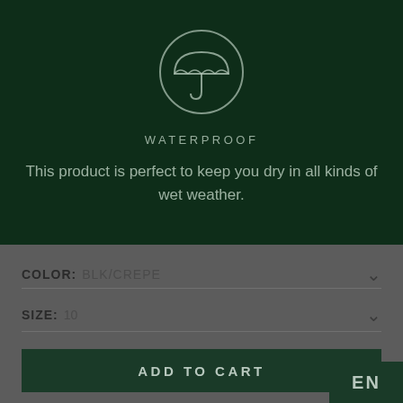[Figure (illustration): Dark green background with waterproof icon (umbrella in circle) and text overlay showing product feature]
WATERPROOF
This product is perfect to keep you dry in all kinds of wet weather.
COLOR: BLK/CREPE
SIZE: 10
ADD TO CART
EN